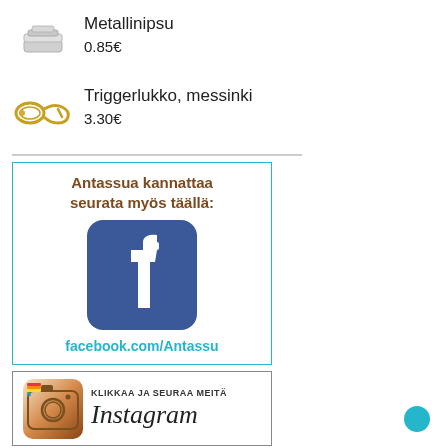[Figure (photo): Small metal clip product thumbnail image]
Metallinipsu
0.85€
[Figure (photo): Triggerlukko messinki product thumbnail image]
Triggerlukko, messinki
3.30€
[Figure (infographic): Facebook promotional box with Facebook logo and text 'Antassua kannattaa seurata myös täällä:' and 'facebook.com/Antassu']
[Figure (infographic): Instagram follow banner with Instagram logo icon, text 'KLIKKAA JA SEURAA MEITÄ Instagram']